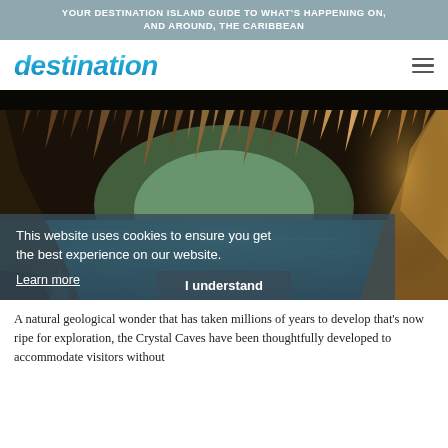YOUR DESTINATION ISLAND GUIDE TO WHAT'S HAPPENING ON, AND AROUND, THE CARIBBEAN
destination
[Figure (photo): A dramatic cave interior with stalactites hanging from the ceiling illuminated by warm golden light, with turquoise blue water below — Crystal Caves]
This website uses cookies to ensure you get the best experience on our website. Learn more
I understand
A natural geological wonder that has taken millions of years to develop that's now ripe for exploration, the Crystal Caves have been thoughtfully developed to accommodate visitors without